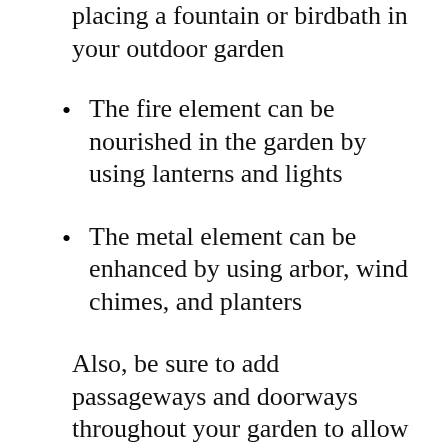placing a fountain or birdbath in your outdoor garden
The fire element can be nourished in the garden by using lanterns and lights
The metal element can be enhanced by using arbor, wind chimes, and planters
Also, be sure to add passageways and doorways throughout your garden to allow you to move freely from one sector to another. A classical feng shui pathway is